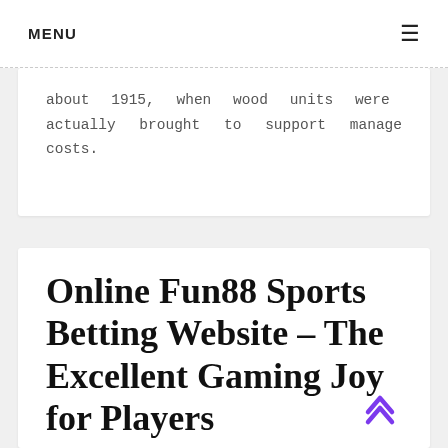MENU ☰
about 1915, when wood units were actually brought to support manage costs.
Online Fun88 Sports Betting Website – The Excellent Gaming Joy for Players
♀ January 📅 February 📅 M M C